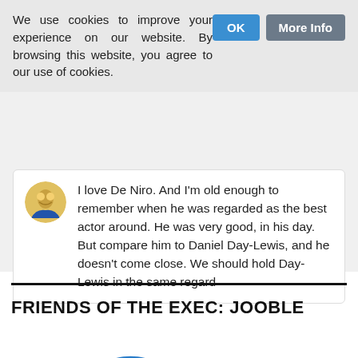We use cookies to improve your experience on our website. By browsing this website, you agree to our use of cookies.
I love De Niro. And I'm old enough to remember when he was regarded as the best actor around. He was very good, in his day. But compare him to Daniel Day-Lewis, and he doesn't come close. We should hold Day-Lewis in the same regard
FRIENDS OF THE EXEC: JOOBLE
[Figure (logo): Jooble bird logo in blue, stylized bird shape]